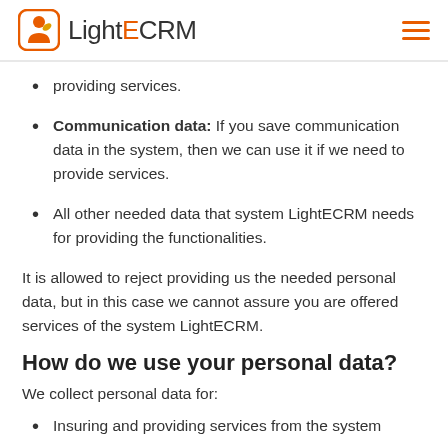LightECRM
providing services.
Communication data: If you save communication data in the system, then we can use it if we need to provide services.
All other needed data that system LightECRM needs for providing the functionalities.
It is allowed to reject providing us the needed personal data, but in this case we cannot assure you are offered services of the system LightECRM.
How do we use your personal data?
We collect personal data for:
Insuring and providing services from the system